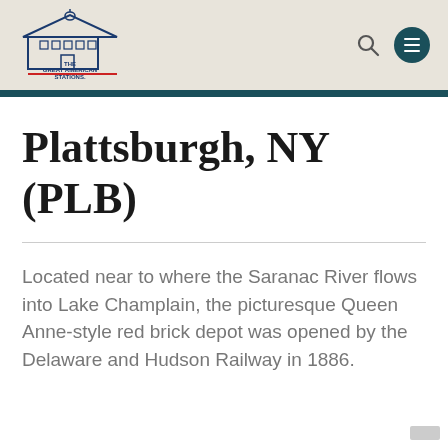The Great American Stations
Plattsburgh, NY (PLB)
Located near to where the Saranac River flows into Lake Champlain, the picturesque Queen Anne-style red brick depot was opened by the Delaware and Hudson Railway in 1886.